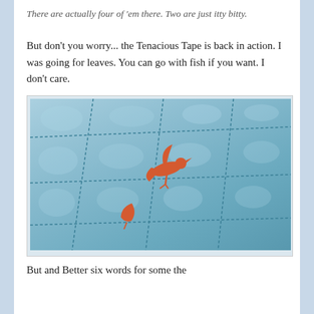There are actually four of 'em there. Two are just itty bitty.
But don't you worry... the Tenacious Tape is back in action. I was going for leaves. You can go with fish if you want. I don't care.
[Figure (photo): Close-up of a light blue quilted fabric with orange leaf/fish shapes appliquéd on it. The quilting stitches are visible creating a grid pattern.]
But and Better six words for some the